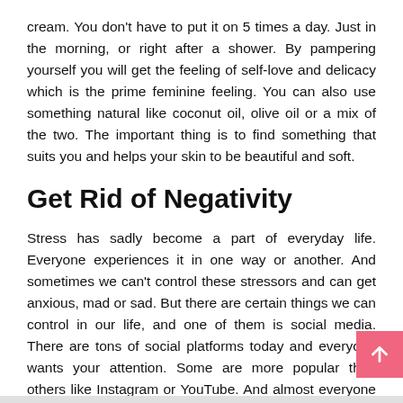cream. You don't have to put it on 5 times a day. Just in the morning, or right after a shower. By pampering yourself you will get the feeling of self-love and delicacy which is the prime feminine feeling. You can also use something natural like coconut oil, olive oil or a mix of the two. The important thing is to find something that suits you and helps your skin to be beautiful and soft.
Get Rid of Negativity
Stress has sadly become a part of everyday life. Everyone experiences it in one way or another. And sometimes we can't control these stressors and can get anxious, mad or sad. But there are certain things we can control in our life, and one of them is social media. There are tons of social platforms today and everyone wants your attention. Some are more popular than others like Instagram or YouTube. And almost everyone has them.